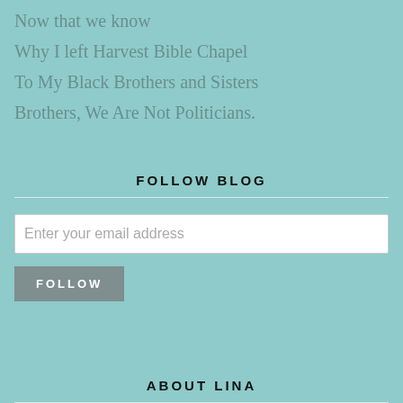Now that we know
Why I left Harvest Bible Chapel
To My Black Brothers and Sisters
Brothers, We Are Not Politicians.
FOLLOW BLOG
Enter your email address
FOLLOW
ABOUT LINA